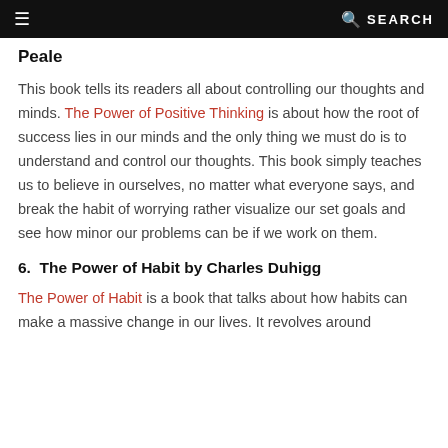≡  🔍 SEARCH
Peale
This book tells its readers all about controlling our thoughts and minds. The Power of Positive Thinking is about how the root of success lies in our minds and the only thing we must do is to understand and control our thoughts. This book simply teaches us to believe in ourselves, no matter what everyone says, and break the habit of worrying rather visualize our set goals and see how minor our problems can be if we work on them.
6.  The Power of Habit by Charles Duhigg
The Power of Habit is a book that talks about how habits can make a massive change in our lives. It revolves around the concept that habits can be changed if we work on them.